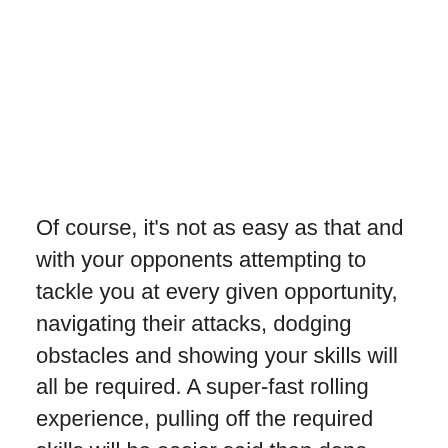Of course, it's not as easy as that and with your opponents attempting to tackle you at every given opportunity, navigating their attacks, dodging obstacles and showing your skills will all be required. A super-fast rolling experience, pulling off the required skills will be easier said then done.
Free-to-play means that it's a bit of a no-brainer to not get
[Figure (screenshot): Video overlay bar showing a thumbnail of Turtle Beach Recon Spark headset unboxing video with play button, title 'UNBOXING AND FIRST LOOK - Turtle Beach Recon Spark Headset for Xbox One, PS4, Switch and PC', close button (X), and a teal OK button at the bottom.]